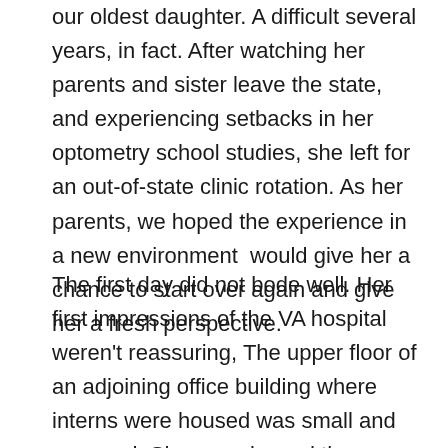our oldest daughter. A difficult several years, in fact. After watching her parents and sister leave the state, and experiencing setbacks in her optometry school studies, she left for an out-of-state clinic rotation. As her parents, we hoped the experience in a new environment  would give her a chance to start over again and give her a fresh perspective.
The first day did not bode well. Her first impressions of the VA hospital weren't reassuring, The upper floor of an adjoining office building where interns were housed was small and cramped. She experienced the normal but unexpected glitches of settling in – like